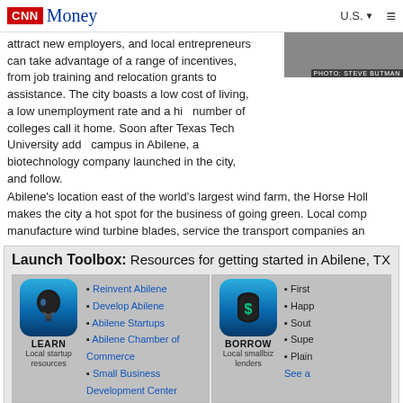CNN Money
attract new employers, and local entrepreneurs can take advantage of a range of incentives, from job training and relocation grants to assistance. The city boasts a low cost of living, a low unemployment rate and a high number of colleges call it home. Soon after Texas Tech University added a campus in Abilene, a biotechnology company launched in the city, and others follow.
Abilene's location east of the world's largest wind farm, the Horse Hollow, makes the city a hot spot for the business of going green. Local companies manufacture wind turbine blades, service the transport companies and...
Launch Toolbox: Resources for getting started in Abilene, TX
Reinvent Abilene
Develop Abilene
Abilene Startups
Abilene Chamber of Commerce
Small Business Development Center
First...
Happ...
Sout...
Supe...
Plain...
Abilene Business Statistics
Business Climate
Average for all small...